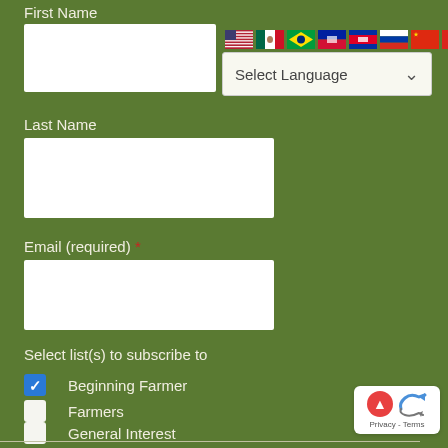First Name
[Figure (screenshot): Row of country flag icons: USA, Mexico, Brazil, Haiti, Cambodia, Russia, China, Vietnam, Arabic/green flag]
[Figure (screenshot): Select Language dropdown control with down arrow]
Last Name
Email (required) *
Select list(s) to subscribe to
Beginning Farmer (checked)
Farmers (unchecked)
General Interest (unchecked)
Sign up
[Figure (logo): reCAPTCHA privacy badge with Privacy - Terms text]